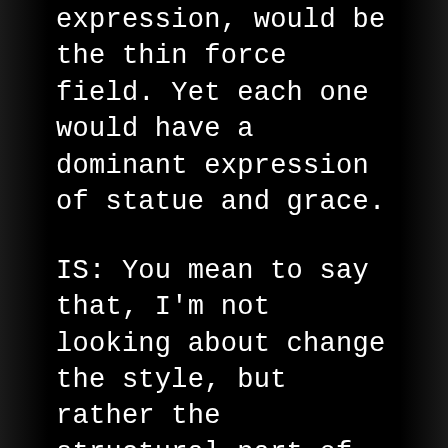expression, would be the thin force field. Yet each one would have a dominant expression of statue and grace.
IS: You mean to say that, I'm not looking about change the style, but rather the structural part of it and you mean to say that the structural part of it is a thing